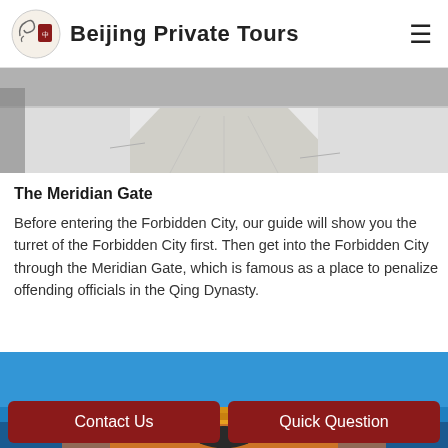Beijing Private Tours
[Figure (photo): Snow-covered pathway with trees on the sides, winter scene at Forbidden City area]
The Meridian Gate
Before entering the Forbidden City, our guide will show you the turret of the Forbidden City first. Then get into the Forbidden City through the Meridian Gate, which is famous as a place to penalize offending officials in the Qing Dynasty.
[Figure (photo): Blue sky with golden-roofed traditional Chinese palace building at Meridian Gate area]
Contact Us
Quick Question